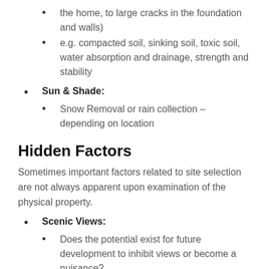the home, to large cracks in the foundation and walls)
e.g. compacted soil, sinking soil, toxic soil, water absorption and drainage, strength and stability
Sun & Shade:
Snow Removal or rain collection – depending on location
Hidden Factors
Sometimes important factors related to site selection are not always apparent upon examination of the physical property.
Scenic Views:
Does the potential exist for future development to inhibit views or become a nuisance?
Try to avoid dominance from other buildings